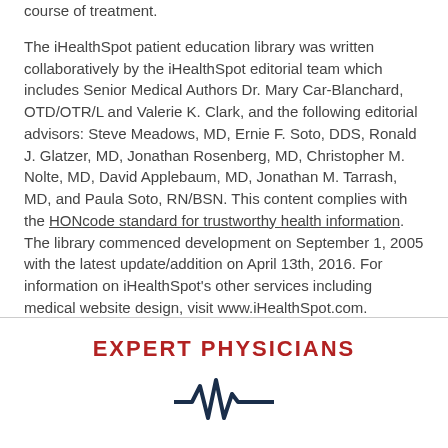course of treatment.
The iHealthSpot patient education library was written collaboratively by the iHealthSpot editorial team which includes Senior Medical Authors Dr. Mary Car-Blanchard, OTD/OTR/L and Valerie K. Clark, and the following editorial advisors: Steve Meadows, MD, Ernie F. Soto, DDS, Ronald J. Glatzer, MD, Jonathan Rosenberg, MD, Christopher M. Nolte, MD, David Applebaum, MD, Jonathan M. Tarrash, MD, and Paula Soto, RN/BSN. This content complies with the HONcode standard for trustworthy health information. The library commenced development on September 1, 2005 with the latest update/addition on April 13th, 2016. For information on iHealthSpot's other services including medical website design, visit www.iHealthSpot.com.
EXPERT PHYSICIANS
[Figure (illustration): Heartbeat/ECG pulse line icon in dark navy blue]